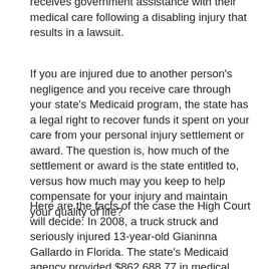receives government assistance with their medical care following a disabling injury that results in a lawsuit.
If you are injured due to another person's negligence and you receive care through your state's Medicaid program, the state has a legal right to recover funds it spent on your care from your personal injury settlement or award. The question is, how much of the settlement or award is the state entitled to, versus how much may you keep to help compensate for your injury and maintain your quality of life?
Here are the facts of the case the High Court will decide: In 2008, a truck struck and seriously injured 13-year-old Gianinna Gallardo in Florida. The state's Medicaid agency provided $862,688.77 in medical payments on Gianinna's behalf. Her parents sued the parties responsible, and the case eventually settled for $800,000, of which $35,367.52 represented payment